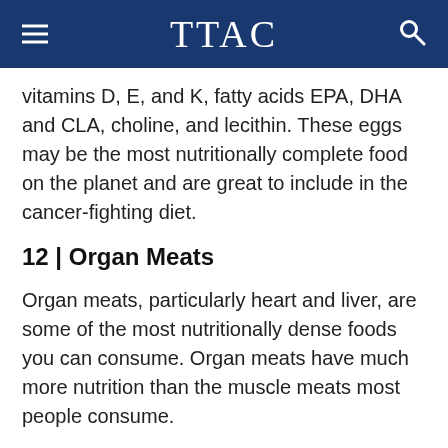TTAC
vitamins D, E, and K, fatty acids EPA, DHA and CLA, choline, and lecithin. These eggs may be the most nutritionally complete food on the planet and are great to include in the cancer-fighting diet.
12 | Organ Meats
Organ meats, particularly heart and liver, are some of the most nutritionally dense foods you can consume. Organ meats have much more nutrition than the muscle meats most people consume.
Two of the healthiest organ meats are liver and heart. Liver is full of B vitamins, vitamin A, zinc, and selenium. These nutrients are critical for